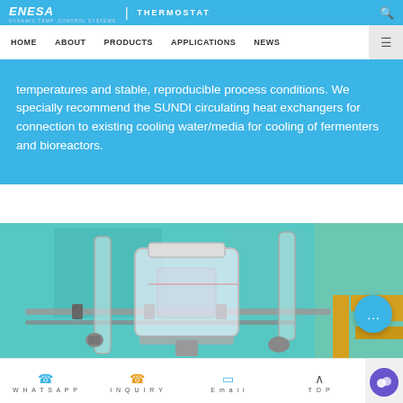ENESA | THERMOSTAT — HOME  ABOUT  PRODUCTS  APPLICATIONS  NEWS
temperatures and stable, reproducible process conditions. We specially recommend the SUNDI circulating heat exchangers for connection to existing cooling water/media for cooling of fermenters and bioreactors.
[Figure (photo): Laboratory bioreactor and fermentation equipment setup with glass vessels, metal piping and connectors on a teal/turquoise background, with yellow pipes visible on the right side.]
WHATSAPP  INQUIRY  Email  TOP